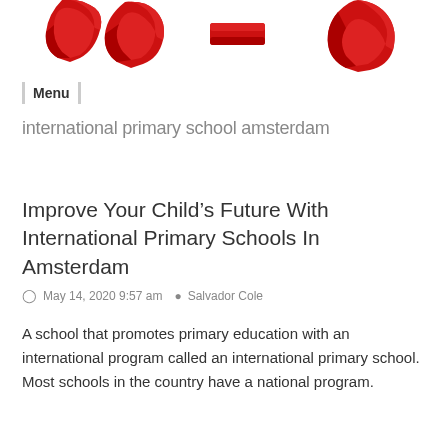[Figure (logo): Red 3D letters forming a logo/wordmark, partially cropped at the top of the page]
Menu
international primary school amsterdam
Improve Your Child’s Future With International Primary Schools In Amsterdam
May 14, 2020 9:57 am  Salvador Cole
A school that promotes primary education with an international program called an international primary school. Most schools in the country have a national program.